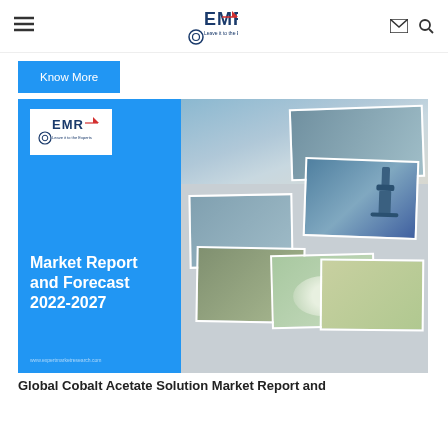≡  EMR  ✉ 🔍
Know More
[Figure (illustration): EMR market report cover image showing blue left panel with EMR logo and text 'Market Report and Forecast 2022-2027' alongside a collage of scientific and nature photographs on the right]
Global Cobalt Acetate Solution Market Report and